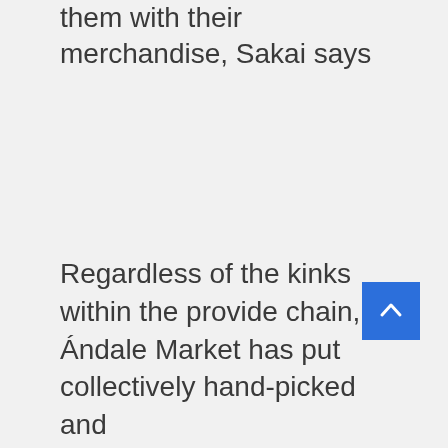them with their merchandise, Sakai says
[Figure (other): Blue back-to-top button with upward chevron arrow]
Regardless of the kinks within the provide chain, Ándale Market has put collectively hand-picked and